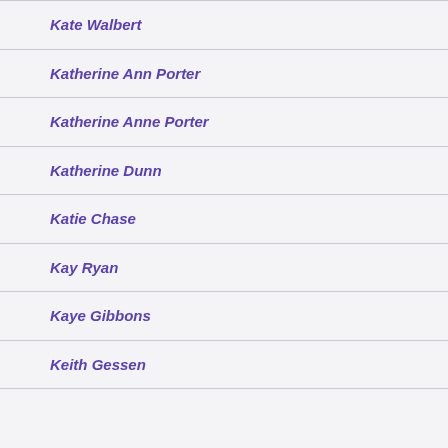Kate Walbert
Katherine Ann Porter
Katherine Anne Porter
Katherine Dunn
Katie Chase
Kay Ryan
Kaye Gibbons
Keith Gessen